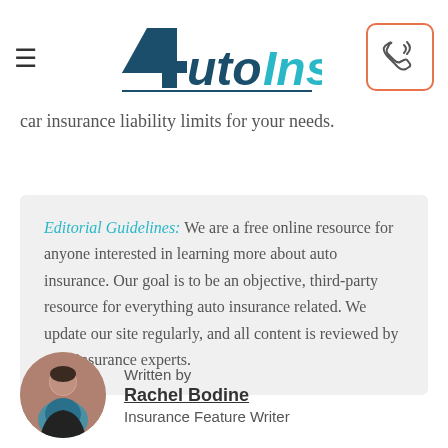AutoInsuranceQuote
car insurance liability limits for your needs.
Editorial Guidelines: We are a free online resource for anyone interested in learning more about auto insurance. Our goal is to be an objective, third-party resource for everything auto insurance related. We update our site regularly, and all content is reviewed by auto insurance experts.
Written by
Rachel Bodine
Insurance Feature Writer